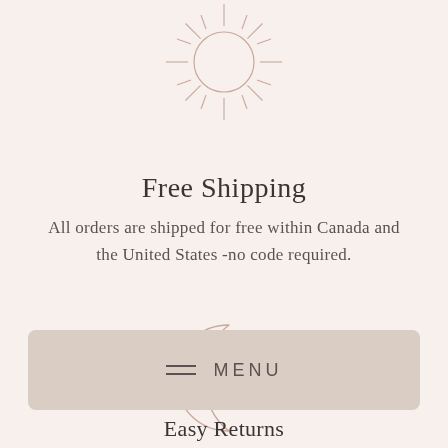[Figure (illustration): Decorative sun icon with radiating lines, outlined in light pinkish-tan color, positioned at top center]
Free Shipping
All orders are shipped for free within Canada and the United States -no code required.
[Figure (illustration): Decorative crescent moon icon, outlined in light pinkish-tan color, positioned at center-lower area]
MENU
Easy Returns